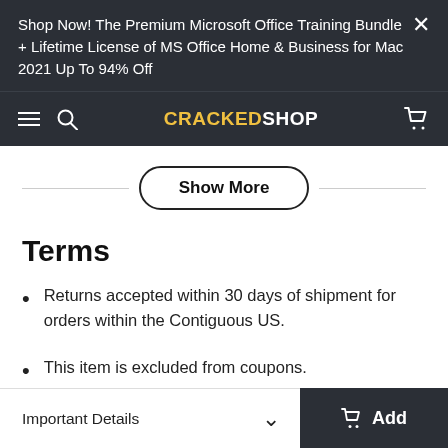Shop Now! The Premium Microsoft Office Training Bundle + Lifetime License of MS Office Home & Business for Mac 2021 Up To 94% Off
CRACKEDSHOP
Show More
Terms
Returns accepted within 30 days of shipment for orders within the Contiguous US.
This item is excluded from coupons.
Important Details
Add